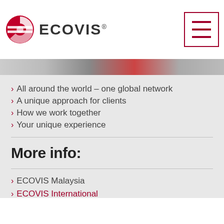[Figure (logo): ECOVIS logo with red circular icon and ECOVIS text]
[Figure (other): Hamburger menu icon with three horizontal red lines in a red-bordered square]
[Figure (photo): Partial image strip showing people photographs]
All around the world – one global network
A unique approach for clients
How we work together
Your unique experience
More info:
ECOVIS Malaysia
ECOVIS International